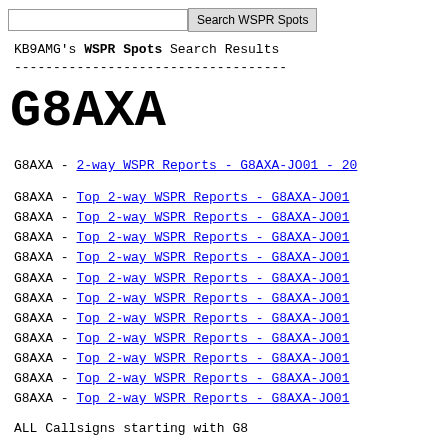G8AXA
KB9AMG's WSPR Spots Search Results
-----------------------------------
G8AXA - 2-way WSPR Reports - G8AXA-JO01 - 20
G8AXA - Top 2-way WSPR Reports - G8AXA-JO01
G8AXA - Top 2-way WSPR Reports - G8AXA-JO01
G8AXA - Top 2-way WSPR Reports - G8AXA-JO01
G8AXA - Top 2-way WSPR Reports - G8AXA-JO01
G8AXA - Top 2-way WSPR Reports - G8AXA-JO01
G8AXA - Top 2-way WSPR Reports - G8AXA-JO01
G8AXA - Top 2-way WSPR Reports - G8AXA-JO01
G8AXA - Top 2-way WSPR Reports - G8AXA-JO01
G8AXA - Top 2-way WSPR Reports - G8AXA-JO01
G8AXA - Top 2-way WSPR Reports - G8AXA-JO01
G8AXA - Top 2-way WSPR Reports - G8AXA-JO01
ALL Callsigns starting with G8